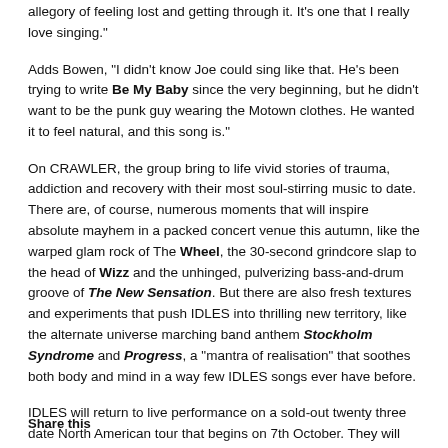allegory of feeling lost and getting through it. It's one that I really love singing.
Adds Bowen, "I didn't know Joe could sing like that. He's been trying to write Be My Baby since the very beginning, but he didn't want to be the punk guy wearing the Motown clothes. He wanted it to feel natural, and this song is."
On CRAWLER, the group bring to life vivid stories of trauma, addiction and recovery with their most soul-stirring music to date. There are, of course, numerous moments that will inspire absolute mayhem in a packed concert venue this autumn, like the warped glam rock of The Wheel, the 30-second grindcore slap to the head of Wizz and the unhinged, pulverizing bass-and-drum groove of The New Sensation. But there are also fresh textures and experiments that push IDLES into thrilling new territory, like the alternate universe marching band anthem Stockholm Syndrome and Progress, a "mantra of realisation" that soothes both body and mind in a way few IDLES songs ever have before.
IDLES will return to live performance on a sold-out twenty three date North American tour that begins on 7th October. They will then play sold out UK shows throughout January and February 2022 that includes a four night run at London's legendary O2 Academy Brixton. They will perform at the O2 Academy in Sheffield on 1st February 2022.
Share this